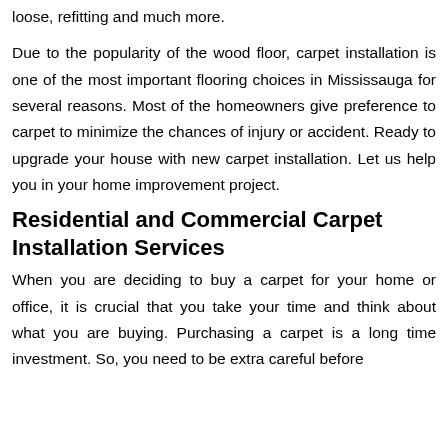services such as carpet installation, carpet repair, carpet loose, refitting and much more.
Due to the popularity of the wood floor, carpet installation is one of the most important flooring choices in Mississauga for several reasons. Most of the homeowners give preference to carpet to minimize the chances of injury or accident. Ready to upgrade your house with new carpet installation. Let us help you in your home improvement project.
Residential and Commercial Carpet Installation Services
When you are deciding to buy a carpet for your home or office, it is crucial that you take your time and think about what you are buying. Purchasing a carpet is a long time investment. So, you need to be extra careful before